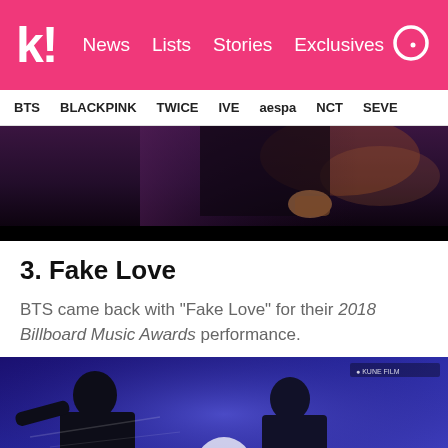k! News Lists Stories Exclusives
BTS BLACKPINK TWICE IVE aespa NCT SEVE
[Figure (photo): Concert performance scene, dark stage with performer in dark jacket, hands visible near instrument]
3. Fake Love
BTS came back with "Fake Love" for their 2018 Billboard Music Awards performance.
[Figure (photo): BTS performing Fake Love at the 2018 Billboard Music Awards, performers in black outfits against blue background with play button overlay]